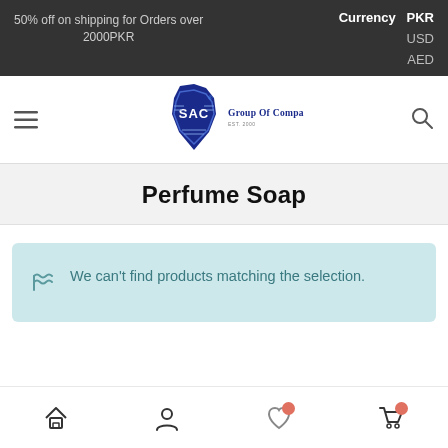50% off on shipping for Orders over 2000PKR  |  Currency  PKR  USD  AED
[Figure (logo): SAC Group Of Companies logo — blue shield/flame emblem with SAC text and 'Group Of Companies' wordmark]
Perfume Soap
We can't find products matching the selection.
Navigation bar with Home, Account, Wishlist (badge), Cart (badge) icons